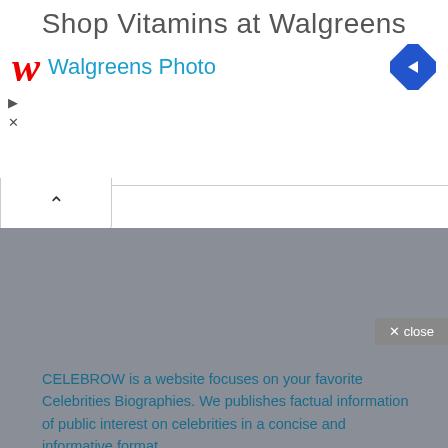[Figure (screenshot): Walgreens advertisement banner with logo, 'Shop Vitamins at Walgreens' headline, 'Walgreens Photo' subtext in blue, and a blue navigation diamond icon on the right. UI controls (play, close) on the left. A collapse chevron bar below.]
× close
CELEBROW is a website focuses on your favorite Celebrities Biographies. We publishes factual information of public interest on celebrities in a concise and informative format.
Contact us for adding your biography or for brand promotion:
contact@celebrow.com